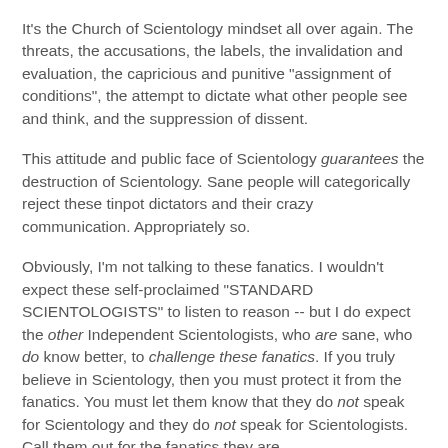It's the Church of Scientology mindset all over again.  The threats, the accusations, the labels, the invalidation and evaluation, the capricious and punitive "assignment of conditions", the attempt to dictate what other people see and think, and the suppression of dissent.
This attitude and public face of Scientology guarantees the destruction of Scientology.  Sane people will categorically reject these tinpot dictators and their crazy communication.  Appropriately so.
Obviously, I'm not talking to these fanatics. I wouldn't expect these self-proclaimed "STANDARD SCIENTOLOGISTS" to listen to reason -- but I do expect the other Independent Scientologists, who are sane, who do know better, to challenge these fanatics.  If you truly believe in Scientology, then you must protect it from the fanatics.  You must let them know that they do not speak for Scientology and they do not speak for Scientologists.  Call them out for the fanatics they are.